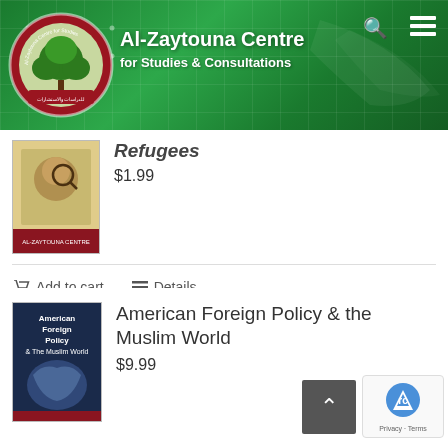[Figure (logo): Al-Zaytouna Centre logo with tree emblem in circular badge on green banner header]
Al-Zaytouna Centre for Studies & Consultations
Refugees
$1.99
Add to cart
Details
American Foreign Policy & the Muslim World
$9.99